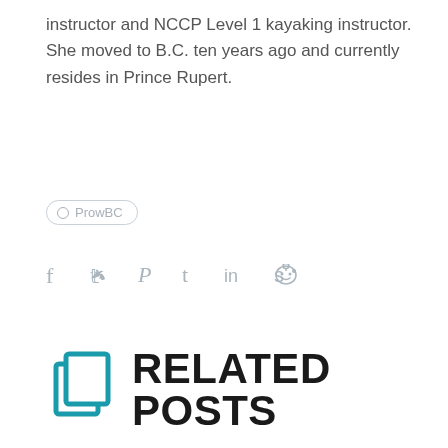instructor and NCCP Level 1 kayaking instructor. She moved to B.C. ten years ago and currently resides in Prince Rupert.
[Figure (other): Tag pill button labeled 'ProwBC' with a circle icon and pill-shaped border]
[Figure (other): Social sharing icons: Facebook, Twitter, Pinterest, Tumblr, LinkedIn, Reddit]
RELATED POSTS